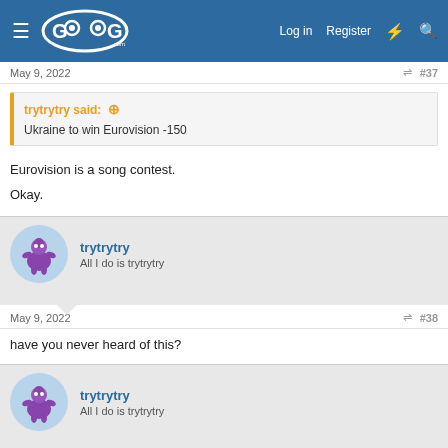GoG.com — Log in | Register
May 9, 2022  #37
trytrytry said: ↑
Ukraine to win Eurovision -150
Eurovision is a song contest.

Okay.
trytrytry
All I do is trytrytry
May 9, 2022  #38
have you never heard of this?
trytrytry
All I do is trytrytry